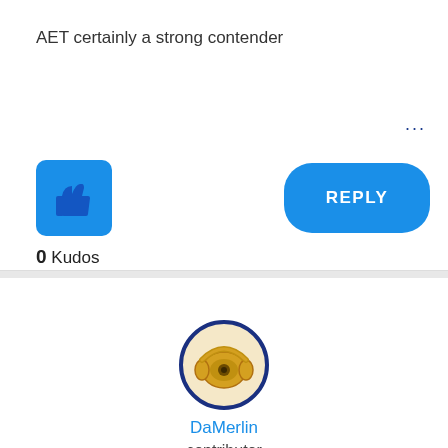AET certainly a strong contender
0 Kudos
[Figure (illustration): Blue thumbs-up like button icon]
REPLY
[Figure (illustration): User avatar for DaMerlin showing headphones icon with dark blue circular border]
DaMerlin
contributor
10-02-2015 05:16 PM